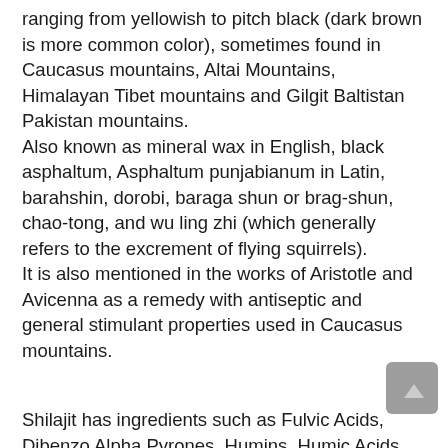ranging from yellowish to pitch black (dark brown is more common color), sometimes found in Caucasus mountains, Altai Mountains, Himalayan Tibet mountains and Gilgit Baltistan Pakistan mountains.
Also known as mineral wax in English, black asphaltum, Asphaltum punjabianum in Latin, barahshin, dorobi, baraga shun or brag-shun, chao-tong, and wu ling zhi (which generally refers to the excrement of flying squirrels).
It is also mentioned in the works of Aristotle and Avicenna as a remedy with antiseptic and general stimulant properties used in Caucasus mountains.
Shilajit has ingredients such as Fulvic Acids, Dibenzo Alpha Pyrones, Humins, Humic Acids, trace minerals, vitamins A, B, C and P (citrines), phospholipids and polyphenol complexes, terpentoids. Also, present are microelements (cobalt, nickel, copper, zinc, manganese, chrome, iron, magnesium and other).
For use in Ayurvedic medicine the black variant is